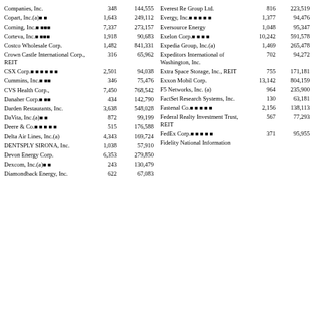| Company | Shares | Value |
| --- | --- | --- |
| Companies, Inc. | 348 | 144,555 |
| Copart, Inc.(a) | 1,643 | 249,112 |
| Corning, Inc. | 7,337 | 273,157 |
| Corteva, Inc. | 1,918 | 90,683 |
| Costco Wholesale Corp. | 1,482 | 841,331 |
| Crown Castle International Corp., REIT | 316 | 65,962 |
| CSX Corp. | 2,501 | 94,038 |
| Cummins, Inc. | 346 | 75,476 |
| CVS Health Corp. | 7,450 | 768,542 |
| Danaher Corp. | 434 | 142,790 |
| Darden Restaurants, Inc. | 3,638 | 548,028 |
| DaVita, Inc.(a) | 872 | 99,199 |
| Deere & Co. | 515 | 176,588 |
| Delta Air Lines, Inc.(a) | 4,343 | 169,724 |
| DENTSPLY SIRONA, Inc. | 1,038 | 57,910 |
| Devon Energy Corp. | 6,353 | 279,850 |
| Dexcom, Inc.(a) | 243 | 130,479 |
| Diamondback Energy, Inc. | 622 | 67,083 |
| Company | Shares | Value |
| --- | --- | --- |
| Everest Re Group Ltd. | 816 | 223,519 |
| Evergy, Inc. | 1,377 | 94,476 |
| Eversource Energy | 1,048 | 95,347 |
| Exelon Corp. | 10,242 | 591,578 |
| Expedia Group, Inc.(a) | 1,469 | 265,478 |
| Expeditors International of Washington, Inc. | 702 | 94,272 |
| Extra Space Storage, Inc., REIT | 755 | 171,181 |
| Exxon Mobil Corp. | 13,142 | 804,159 |
| F5 Networks, Inc.(a) | 964 | 235,900 |
| FactSet Research Systems, Inc. | 130 | 63,181 |
| Fastenal Co. | 2,156 | 138,113 |
| Federal Realty Investment Trust, REIT | 567 | 77,293 |
| FedEx Corp. | 371 | 95,955 |
| Fidelity National Information |  |  |